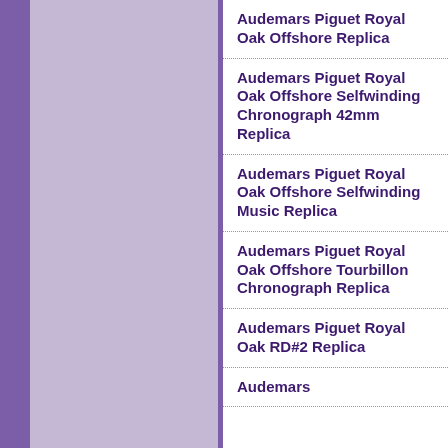[Figure (photo): Large lavender/light purple textured background panel on the left side of the page]
Audemars Piguet Royal Oak Offshore Replica
Audemars Piguet Royal Oak Offshore Selfwinding Chronograph 42mm Replica
Audemars Piguet Royal Oak Offshore Selfwinding Music Replica
Audemars Piguet Royal Oak Offshore Tourbillon Chronograph Replica
Audemars Piguet Royal Oak RD#2 Replica
Audemars